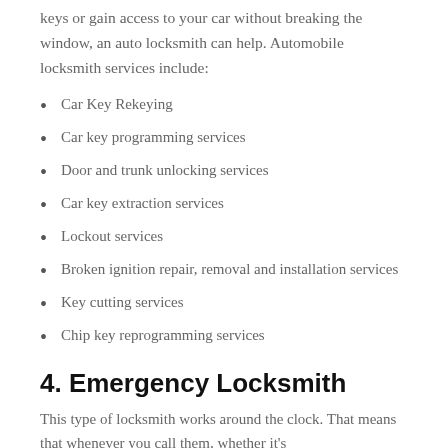keys or gain access to your car without breaking the window, an auto locksmith can help. Automobile locksmith services include:
Car Key Rekeying
Car key programming services
Door and trunk unlocking services
Car key extraction services
Lockout services
Broken ignition repair, removal and installation services
Key cutting services
Chip key reprogramming services
4. Emergency Locksmith
This type of locksmith works around the clock. That means that whenever you call them, whether it's